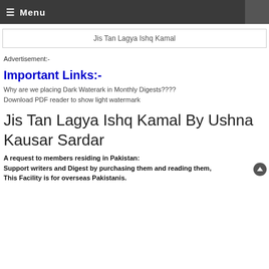≡ Menu
Jis Tan Lagya Ishq Kamal
Advertisement:-
Important Links:-
Why are we placing Dark Waterark in Monthly Digests????
Download PDF reader to show light watermark
Jis Tan Lagya Ishq Kamal By Ushna Kausar Sardar
A request to members residing in Pakistan:
Support writers and Digest by purchasing them and reading them,
This Facility is for overseas Pakistanis.